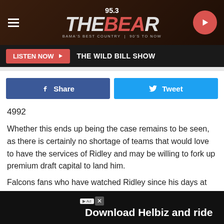[Figure (screenshot): 95.3 The Bear radio station header with logo, hamburger menu, and play button on dark brown background]
LISTEN NOW ▶  THE WILD BILL SHOW
[Figure (other): Facebook Share button and Twitter Tweet button row]
4992
Whether this ends up being the case remains to be seen, as there is certainly no shortage of teams that would love to have the services of Ridley and may be willing to fork up premium draft capital to land him.
Falcons fans who have watched Ridley since his days at Alabama would certainly love to see Ridley stay in Atlanta as well, but ultimately it will be up to Ridley whether or not he wants
[Figure (other): Advertisement banner: Download Helbiz and ride]